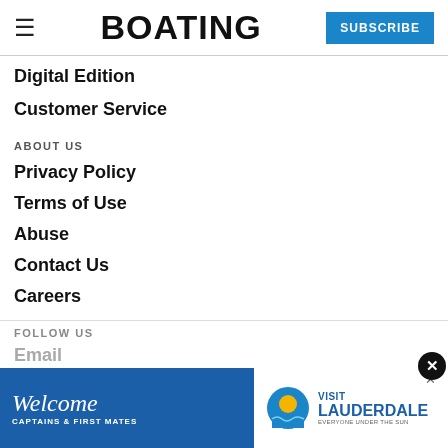BOATING | SUBSCRIBE
Digital Edition
Customer Service
ABOUT US
Privacy Policy
Terms of Use
Abuse
Contact Us
Careers
FOLLOW US
Email
[Figure (screenshot): Advertisement banner: Welcome Captains & First Mates – Visit Lauderdale, Everyone Under the Sun]